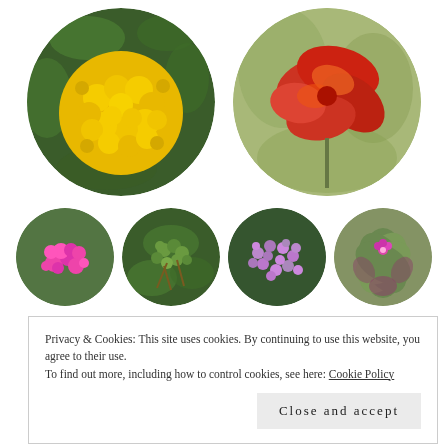[Figure (photo): Six circular cropped flower photos — two large on top row (yellow lantana cluster, red/orange tropical flower), four small on bottom row (pink lantana, green buds, purple flowers, small pink flower with succulent)]
Privacy & Cookies: This site uses cookies. By continuing to use this website, you agree to their use.
To find out more, including how to control cookies, see here: Cookie Policy
Close and accept